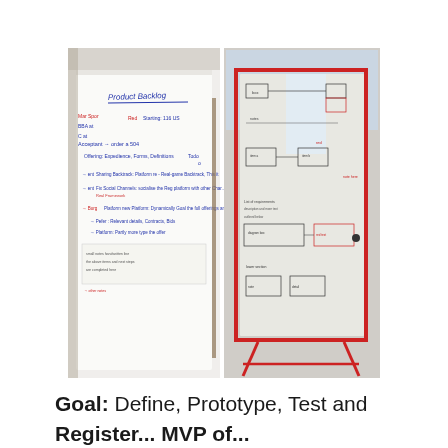[Figure (photo): Two photos side by side: left photo shows a flipchart/whiteboard with handwritten notes in blue and red ink about project planning; right photo shows a whiteboard on a red stand with diagrams and text sketched in marker.]
Goal: Define, Prototype, Test and Register... MVP of...